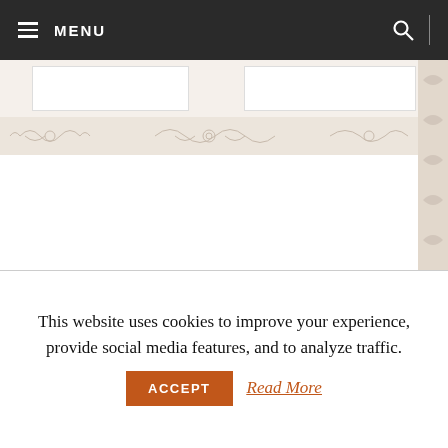MENU (navigation bar with hamburger menu and search icon)
[Figure (screenshot): Partial website page showing ornamental decorative patterns, white content boxes, and two semicircular avatar placeholders against a white background with decorative right strip]
This website uses cookies to improve your experience, provide social media features, and to analyze traffic.
ACCEPT   Read More